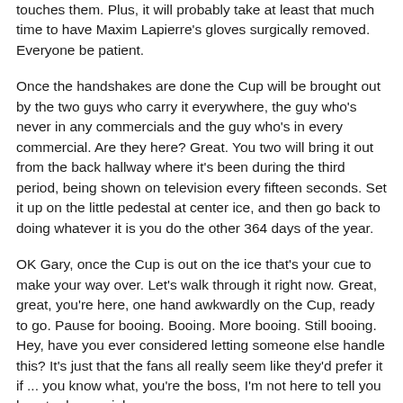touches them. Plus, it will probably take at least that much time to have Maxim Lapierre's gloves surgically removed. Everyone be patient.
Once the handshakes are done the Cup will be brought out by the two guys who carry it everywhere, the guy who's never in any commercials and the guy who's in every commercial. Are they here? Great. You two will bring it out from the back hallway where it's been during the third period, being shown on television every fifteen seconds. Set it up on the little pedestal at center ice, and then go back to doing whatever it is you do the other 364 days of the year.
OK Gary, once the Cup is out on the ice that's your cue to make your way over. Let's walk through it right now. Great, great, you're here, one hand awkwardly on the Cup, ready to go. Pause for booing. Booing. More booing. Still booing. Hey, have you ever considered letting someone else handle this? It's just that the fans all really seem like they'd prefer it if ... you know what, you're the boss, I'm not here to tell you how to do your job.
So now you're the king of Narnia and your Cup and it will...